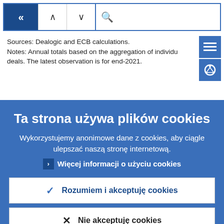[Figure (screenshot): Navigation bar with back arrow (double left chevron), up/down arrow navigation buttons, and a search icon with search field]
Sources: Dealogic and ECB calculations.
Notes: Annual totals based on the aggregation of individual deals. The latest observation is for end-2021.
Ta strona używa plików cookies
Wykorzystujemy anonimowe dane z cookies, aby ciągle ulepszać naszą stronę internetową.
Więcej informacji o użyciu cookies
Rozumiem i akceptuję cookies
Nie akceptuję cookies